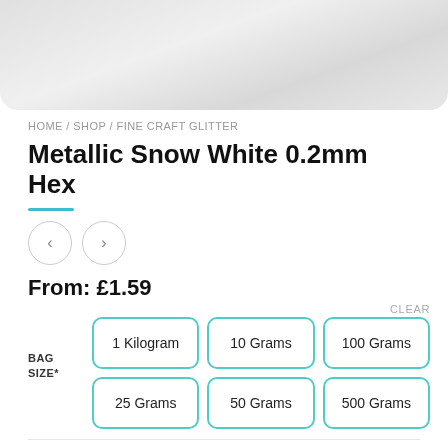[Figure (photo): Product image of metallic snow white glitter with rounded bottom corners, light grey sparkly texture]
HOME / SHOP / FINE CRAFT GLITTER
Metallic Snow White 0.2mm Hex
From: £1.59
CLEAR
BAG SIZE*
1 Kilogram
10 Grams
100 Grams
25 Grams
50 Grams
500 Grams
ADD TO CART